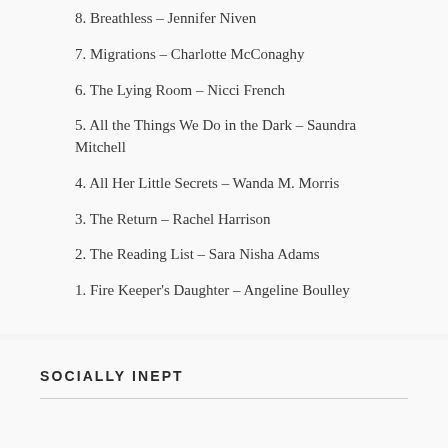8. Breathless – Jennifer Niven
7. Migrations – Charlotte McConaghy
6. The Lying Room – Nicci French
5. All the Things We Do in the Dark – Saundra Mitchell
4. All Her Little Secrets – Wanda M. Morris
3. The Return – Rachel Harrison
2. The Reading List – Sara Nisha Adams
1. Fire Keeper's Daughter – Angeline Boulley
SOCIALLY INEPT